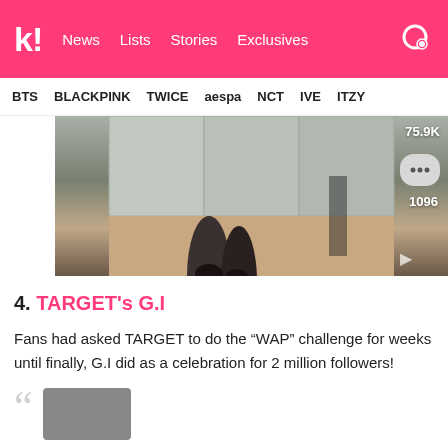k! News Lists Stories Exclusives
BTS BLACKPINK TWICE aespa NCT IVE ITZY
[Figure (photo): A person's legs in dark shorts and dark ankle boots in a dance studio or mirrored room. Overlay shows 75.9K likes and 1096 comments with a chat bubble icon.]
4. TARGET's G.I
Fans had asked TARGET to do the "WAP" challenge for weeks until finally, G.I did as a celebration for 2 million followers!